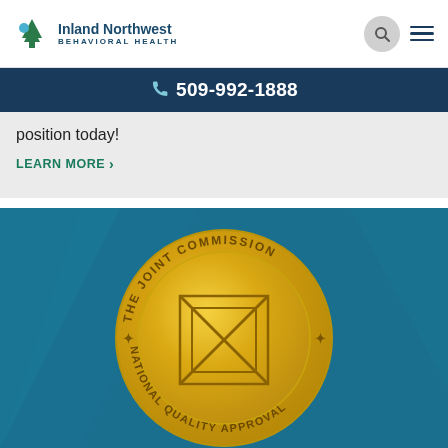Inland Northwest BEHAVIORAL HEALTH
509-992-1888
position today!
LEARN MORE >
[Figure (logo): The Joint Commission National Quality Approval gold seal medallion on a teal/blue background]